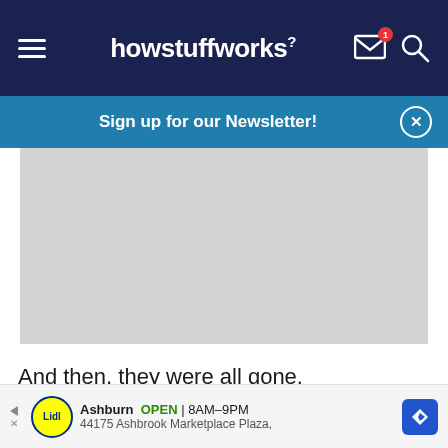howstuffworks
Sign up for our Newsletter!
[Figure (photo): Grey image placeholder / advertisement area]
And then, they were all gone.
In 1890, after years of dealing with hate mail and
Ashburn OPEN 8AM-9PM 44175 Ashbrook Marketplace Plaza,